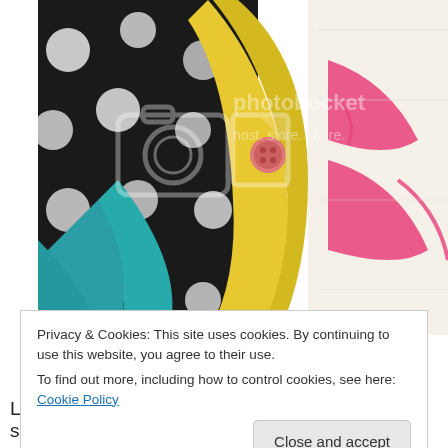[Figure (photo): Close-up photo of colorful fabric pieces including black fabric with white polka dots, teal fabric, yellow fabric, and white fabric with pink design, held together with a pink button. Photobucket watermark overlay visible.]
Privacy & Cookies: This site uses cookies. By continuing to use this website, you agree to their use.
To find out more, including how to control cookies, see here: Cookie Policy
Close and accept
Lay the fabric smooth & re-pin the hole and sew it shut